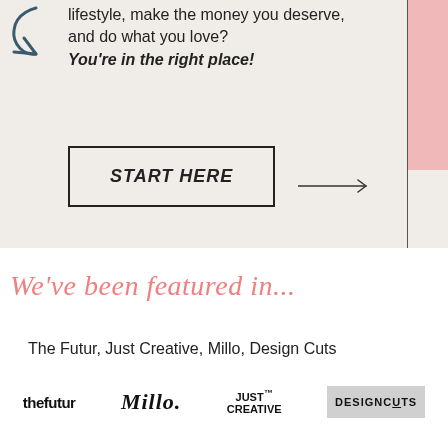lifestyle, make the money you deserve, and do what you love? You're in the right place!
[Figure (illustration): Decorative arrow/swirl icon in dark teal/navy]
START HERE
[Figure (illustration): Horizontal arrow line pointing right from the START HERE button]
We've been featured in...
The Futur, Just Creative, Millo, Design Cuts
[Figure (logo): thefutur logo in bold black text]
[Figure (logo): Millo logo in italic serif font]
[Figure (logo): JUST CREATIVE logo in bold sans-serif]
[Figure (logo): DESIGNCUTS logo in bold caps on gray background]